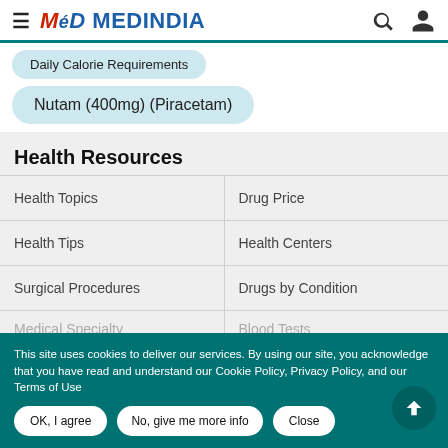MEDINDIA
Daily Calorie Requirements
Nutam (400mg) (Piracetam)
Health Resources
| Health Topics | Drug Price |
| Health Tips | Health Centers |
| Surgical Procedures | Drugs by Condition |
| Medical Specialty | Blood Tests |
This site uses cookies to deliver our services. By using our site, you acknowledge that you have read and understand our Cookie Policy, Privacy Policy, and our Terms of Use